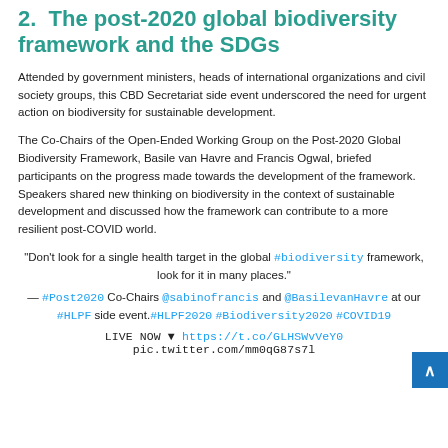2.  The post-2020 global biodiversity framework and the SDGs
Attended by government ministers, heads of international organizations and civil society groups, this CBD Secretariat side event underscored the need for urgent action on biodiversity for sustainable development.
The Co-Chairs of the Open-Ended Working Group on the Post-2020 Global Biodiversity Framework, Basile van Havre and Francis Ogwal, briefed participants on the progress made towards the development of the framework. Speakers shared new thinking on biodiversity in the context of sustainable development and discussed how the framework can contribute to a more resilient post-COVID world.
"Don't look for a single health target in the global #biodiversity framework, look for it in many places."
— #Post2020 Co-Chairs @sabinofrancis and @BasilevanHavre at our #HLPF side event.#HLPF2020 #Biodiversity2020 #COVID19
LIVE NOW ↓ https://t.co/GLHSWvVeY0 pic.twitter.com/mm0qG87s7l